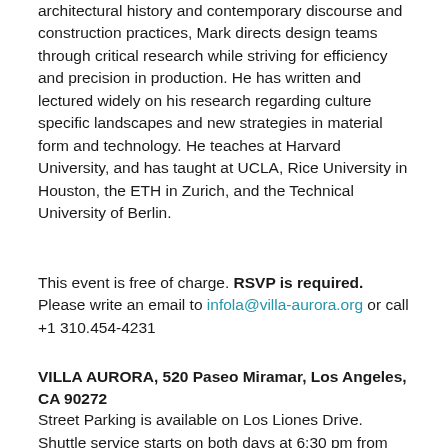architectural history and contemporary discourse and construction practices, Mark directs design teams through critical research while striving for efficiency and precision in production. He has written and lectured widely on his research regarding culture specific landscapes and new strategies in material form and technology. He teaches at Harvard University, and has taught at UCLA, Rice University in Houston, the ETH in Zurich, and the Technical University of Berlin.
This event is free of charge. RSVP is required. Please write an email to infola@villa-aurora.org or call +1 310.454-4231
VILLA AURORA, 520 Paseo Miramar, Los Angeles, CA 90272
Street Parking is available on Los Liones Drive. Shuttle service starts on both days at 6:30 pm from Los Liones Drive, off Sunset Boulevard two blocks North East of Pacific Coast Highway. Please do not park on the Topanga State Park Lot!